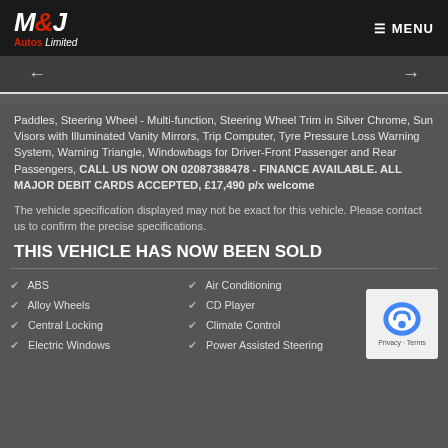M&J Autos Limited — MENU
Paddles, Steering Wheel - Multi-function, Steering Wheel Trim in Silver Chrome, Sun Visors with Illuminated Vanity Mirrors, Trip Computer, Tyre Pressure Loss Warning System, Warning Triangle, Windowbags for Driver-Front Passenger and Rear Passengers, CALL US NOW ON 02087388478 - FINANCE AVAILABLE. ALL MAJOR DEBIT CARDS ACCEPTED, £17,490 p/x welcome
The vehicle specification displayed may not be exact for this vehicle. Please contact us to confirm the precise specifications.
THIS VEHICLE HAS NOW BEEN SOLD
ABS
Alloy Wheels
Central Locking
Electric Windows
Air Conditioning
CD Player
Climate Control
Power Assisted Steering